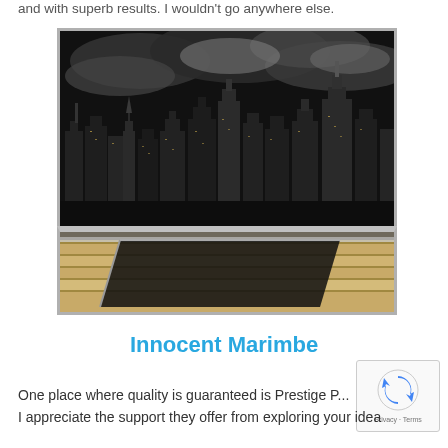and with superb results. I wouldn't go anywhere else.
[Figure (photo): Two-part framed display: top shows a large black-and-white dramatic photo of the New York City skyline (Manhattan) with dark stormy clouds; bottom shows framing/mounting hardware detail with wood-grain slatwall panels and metallic rail.]
Innocent Marimbe
One place where quality is guaranteed is Prestige P... I appreciate the support they offer from exploring your idea